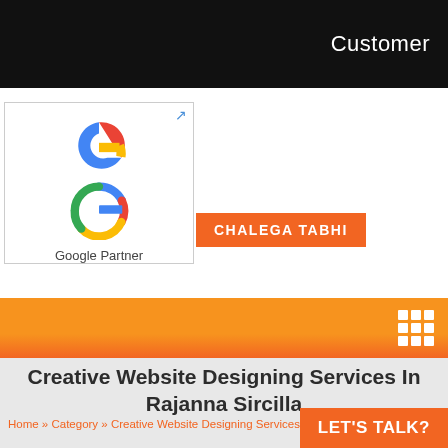Customer
[Figure (logo): Google Partner logo badge with external link icon]
CHALEGA TABHI
[Figure (infographic): Orange navigation bar with 3x3 grid icon on the right]
Creative Website Designing Services In Rajanna Sircilla
Home » Category » Creative Website Designing Services in Rajanna Sircilla
LET'S TALK?